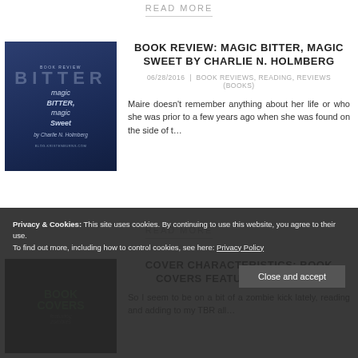READ MORE
[Figure (illustration): Book cover for Magic Bitter, Magic Sweet by Charlie N. Holmberg, dark blue background with ornate script lettering]
BOOK REVIEW: MAGIC BITTER, MAGIC SWEET BY CHARLIE N. HOLMBERG
06/28/2016 | BOOK REVIEWS, READING, REVIEWS (BOOKS)
Maire doesn’t remember anything about her life or who she was prior to a few years ago when she was found on the side of t…
READ MORE
COVER CHARACTERISTICS: BOOK COVERS FEATURING ZOMBIES
So I seem to be on a bit of a zombie kick lately, reading and adding to my TBR all…
Privacy & Cookies: This site uses cookies. By continuing to use this website, you agree to their use. To find out more, including how to control cookies, see here: Privacy Policy
Close and accept